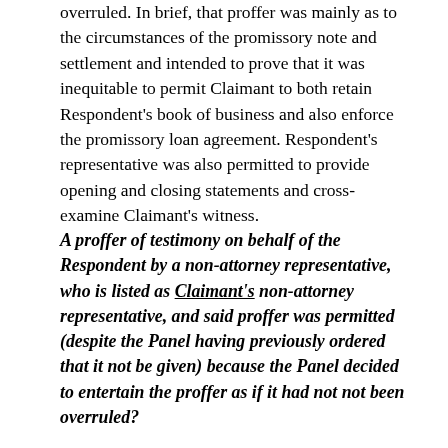overruled. In brief, that proffer was mainly as to the circumstances of the promissory note and settlement and intended to prove that it was inequitable to permit Claimant to both retain Respondent's book of business and also enforce the promissory loan agreement. Respondent's representative was also permitted to provide opening and closing statements and cross-examine Claimant's witness.
A proffer of testimony on behalf of the Respondent by a non-attorney representative, who is listed as Claimant's non-attorney representative, and said proffer was permitted (despite the Panel having previously ordered that it not be given) because the Panel decided to entertain the proffer as if it had not not been overruled?